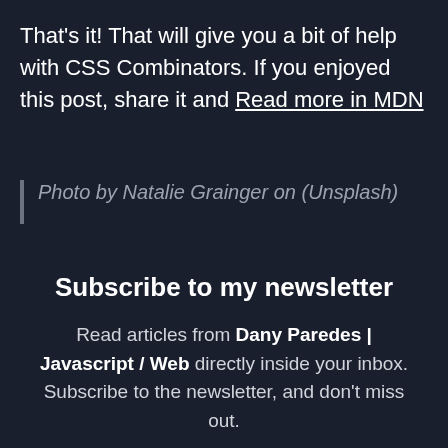That's it! That will give you a bit of help with CSS Combinators. If you enjoyed this post, share it and Read more in MDN
Photo by Natalie Grainger on (Unsplash)
Subscribe to my newsletter
Read articles from Dany Paredes | Javascript / Web directly inside your inbox. Subscribe to the newsletter, and don't miss out.